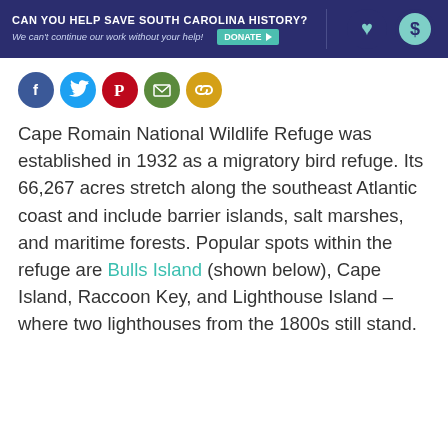[Figure (infographic): Dark navy banner reading 'CAN YOU HELP SAVE SOUTH CAROLINA HISTORY?' with italic subtitle 'We can't continue our work without your help!' and a teal DONATE button with arrow, plus decorative heart and dollar sign icons on the right.]
[Figure (infographic): Row of five circular social media share icons: Facebook (blue), Twitter (light blue), Pinterest (red), Email (green), Link/Copy (yellow-gold).]
Cape Romain National Wildlife Refuge was established in 1932 as a migratory bird refuge. Its 66,267 acres stretch along the southeast Atlantic coast and include barrier islands, salt marshes, and maritime forests. Popular spots within the refuge are Bulls Island (shown below), Cape Island, Raccoon Key, and Lighthouse Island – where two lighthouses from the 1800s still stand.